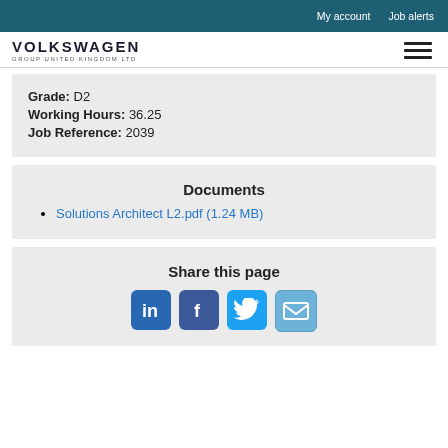My account   Job alerts
[Figure (logo): Volkswagen Group United Kingdom Ltd logo with hamburger menu icon]
Grade: D2
Working Hours: 36.25
Job Reference: 2039
Documents
Solutions Architect L2.pdf (1.24 MB)
Share this page
[Figure (infographic): Social share buttons: LinkedIn, Facebook, Twitter, Email]